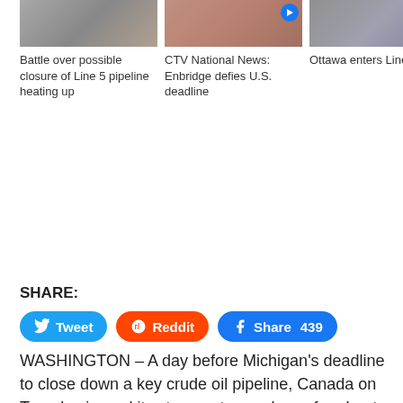[Figure (photo): Thumbnail image for article: Battle over possible closure of Line 5 pipeline heating up]
Battle over possible closure of Line 5 pipeline heating up
[Figure (photo): Thumbnail image for article: CTV National News: Enbridge defies U.S. deadline]
CTV National News: Enbridge defies U.S. deadline
[Figure (photo): Thumbnail image for article: Ottawa enters Line 5 fight]
Ottawa enters Line 5 fight
SHARE:
Tweet  Reddit  Share 439
WASHINGTON – A day before Michigan's deadline to close down a key crude oil pipeline, Canada on Tuesday issued its strongest remarks so far about the move